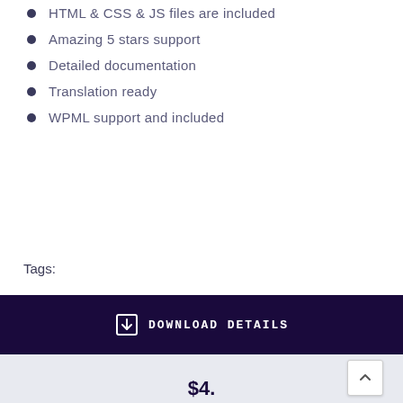HTML & CSS & JS files are included
Amazing 5 stars support
Detailed documentation
Translation ready
WPML support and included
Tags:
DOWNLOAD DETAILS
$4.00